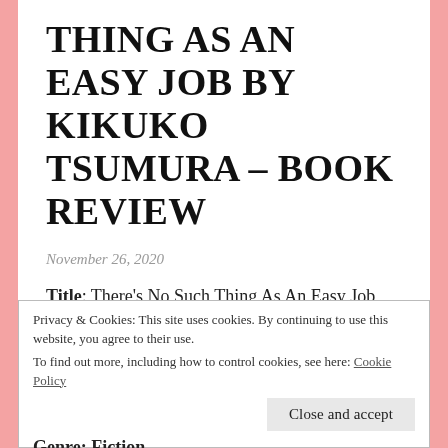THING AS AN EASY JOB BY KIKUKO TSUMURA – BOOK REVIEW
November 26, 2020
Title: There's No Such Thing As An Easy Job
Author: Kikuko Tsumura
Privacy & Cookies: This site uses cookies. By continuing to use this website, you agree to their use.
To find out more, including how to control cookies, see here: Cookie Policy
Close and accept
Genre: Fiction